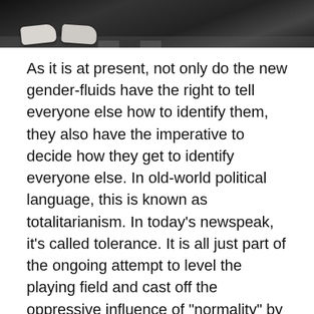[Figure (photo): Black and white photo showing a pair of white sneakers/shoes on what appears to be a crosswalk or striped pavement surface, shot from above.]
As it is at present, not only do the new gender-fluids have the right to tell everyone else how to identify them, they also have the imperative to decide how they get to identify everyone else. In old-world political language, this is known as totalitarianism. In today’s newspeak, it’s called tolerance. It is all just part of the ongoing attempt to level the playing field and cast off the oppressive influence of “normality” by suggesting that normality is 100% in the eye of the beholder.
If, in the process, biological functionality gets surgically removed from the equation and replaced, as in Huxley’s dystopia, with State-sponsored, technological interventions, not to worry, that’s just further proof that we are living in the most progressive society in history.